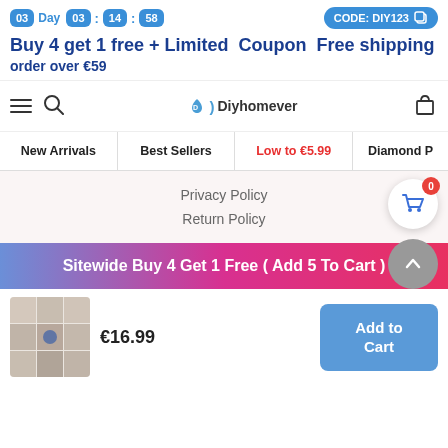03 Day 03 : 14 : 58   CODE: DIY123
Buy 4 get 1 free + Limited Coupon   Free shipping order over €59
[Figure (screenshot): Navigation bar with hamburger menu, search icon, Diyhomever logo, and shopping bag icon]
[Figure (screenshot): Category navigation: New Arrivals, Best Sellers, Low to €5.99, Diamond P...]
Privacy Policy
Return Policy
Sitewide Buy 4 Get 1 Free ( Add 5 To Cart )
€16.99
[Figure (photo): Product thumbnail showing grid of diamond painting designs]
Add to Cart